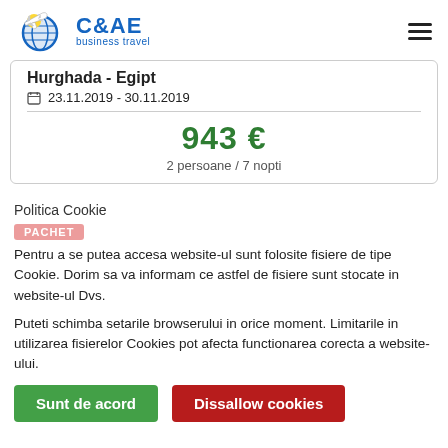C&AE business travel
Hurghada - Egipt
23.11.2019 - 30.11.2019
943 €
2 persoane / 7 nopti
Politica Cookie
PACHET
Pentru a se putea accesa website-ul sunt folosite fisiere de tipe Cookie. Dorim sa va informam ce astfel de fisiere sunt stocate in website-ul Dvs.
Puteti schimba setarile browserului in orice moment. Limitarile in utilizarea fisierelor Cookies pot afecta functionarea corecta a website-ului.
Sunt de acord
Dissallow cookies